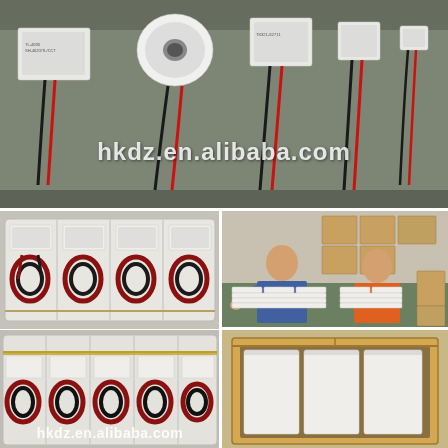[Figure (photo): Top photo showing multiple thermoelectric peltier cooler modules of various sizes laid out on a grey surface with red and black lead wires, with watermark text 'hkdz.en.alibaba.com']
[Figure (photo): Bottom left photo showing thermoelectric peltier modules packaged in white foam trays arranged in rows]
[Figure (photo): Bottom right top photo showing two workers at a table assembling/packaging thermoelectric modules with stacks of white trays and cardboard boxes in background]
[Figure (photo): Bottom right bottom photo showing a cardboard shipping box containing white foam-packaged thermoelectric modules]
[Figure (photo): Bottom left lower section showing more thermoelectric modules in foam trays with watermark 'hkdz.en.alibaba.com']